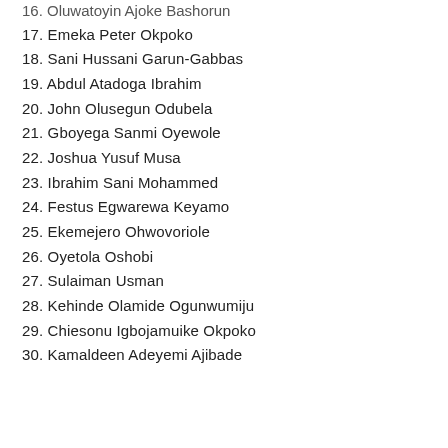16. Oluwatoyin Ajoke Bashorun
17. Emeka Peter Okpoko
18. Sani Hussani Garun-Gabbas
19. Abdul Atadoga Ibrahim
20. John Olusegun Odubela
21. Gboyega Sanmi Oyewole
22. Joshua Yusuf Musa
23. Ibrahim Sani Mohammed
24. Festus Egwarewa Keyamo
25. Ekemejero Ohwovoriole
26. Oyetola Oshobi
27. Sulaiman Usman
28. Kehinde Olamide Ogunwumiju
29. Chiesonu Igbojamuike Okpoko
30. Kamaldeen Adeyemi Ajibade